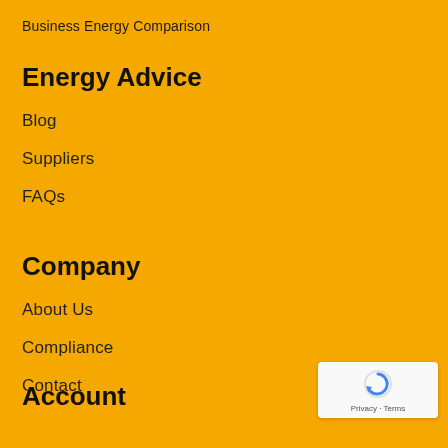Business Energy Comparison
Energy Advice
Blog
Suppliers
FAQs
Company
About Us
Compliance
Contact
[Figure (logo): reCAPTCHA badge with spinning arrow icon and Privacy - Terms text]
Account